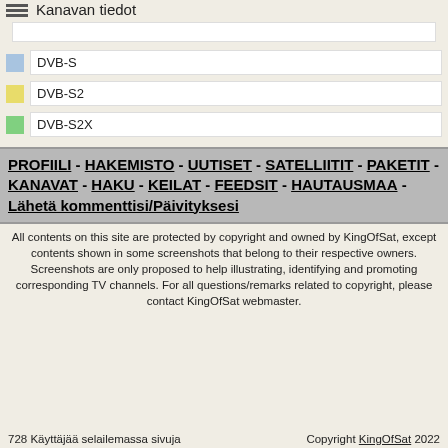Kanavan tiedot
DVB-S
DVB-S2
DVB-S2X
PROFIILI - HAKEMISTO - UUTISET - SATELLIITIT - PAKETIT - KANAVAT - HAKU - KEILAT - FEEDSIT - HAUTAUSMAA - Lähetä kommenttisi/Päivityksesi
All contents on this site are protected by copyright and owned by KingOfSat, except contents shown in some screenshots that belong to their respective owners. Screenshots are only proposed to help illustrating, identifying and promoting corresponding TV channels. For all questions/remarks related to copyright, please contact KingOfSat webmaster.
728 Käyttäjää selailemassa sivuja    Copyright KingOfSat 2022